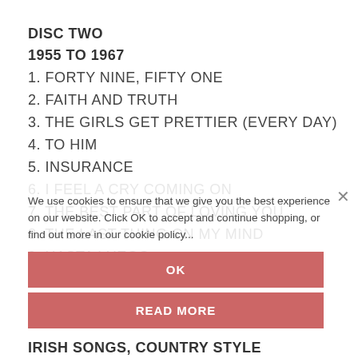DISC TWO
1955 TO 1967
1. FORTY NINE, FIFTY ONE
2. FAITH AND TRUTH
3. THE GIRLS GET PRETTIER (EVERY DAY)
4. TO HIM
5. INSURANCE
6. I FEEL A CRY COMING ON
7. THE BEST PART OF LOVING YOU
8. THE LAST THING ON MY MIND
9. HASTA LUEGO
10. WISHING ON A STAR
11. THE COUNTRY HALL OF FAME
12. EVERGREEN
IRISH SONGS, COUNTRY STYLE
13. THE OLD BOG ROAD
We use cookies to ensure that we give you the best experience on our website. Click OK to accept and continue shopping, or find out more in our cookie policy...